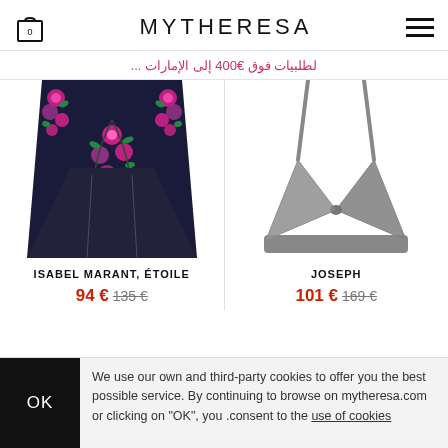MYTHERESA
لطلبيات فوق €400 إلى الإمارات ...
[Figure (photo): Floral embroidered dark navy crop top with pink and green flowers on straps and center front]
[Figure (photo): Grey heather knit soft bralette with thin straps, triangle shape]
ISABEL MARANT, ÉTOILE
JOSEPH
94 € 135 €
101 € 169 €
We use our own and third-party cookies to offer you the best possible service. By continuing to browse on mytheresa.com or clicking on "OK", you consent to the use of cookies